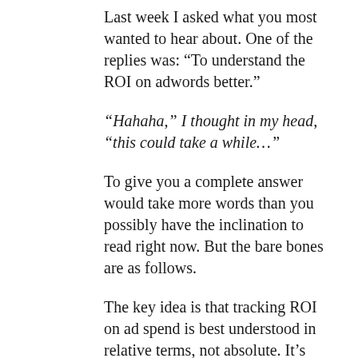Last week I asked what you most wanted to hear about. One of the replies was: “To understand the ROI on adwords better.”
“Hahaha,” I thought in my head, “this could take a while…”
To give you a complete answer would take more words than you possibly have the inclination to read right now. But the bare bones are as follows.
The key idea is that tracking ROI on ad spend is best understood in relative terms, not absolute. It’s often difficult to pinpoint where revenue has come from, because